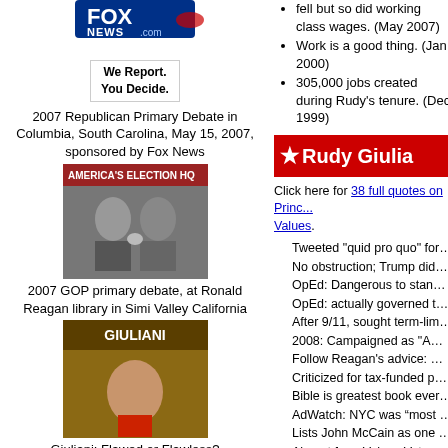[Figure (logo): Fox News logo with foxnews.com text]
We Report. You Decide.
2007 Republican Primary Debate in Columbia, South Carolina, May 15, 2007, sponsored by Fox News
[Figure (photo): 2007 GOP primary debate photo, two candidates shaking hands]
2007 GOP primary debate, at Ronald Reagan library in Simi Valley California
[Figure (photo): Book cover: Giuliani: Flawed or Flawless?]
Giuliani: Flawed or Flawless?
[Figure (logo): CNN logo]
[Figure (photo): CNN Late Edition with Wolf Blitzer 2007]
CNN Late Edition, throughout 2007
fell but so did working class wages. (May 2007)
Work is a good thing. (Jan 2000)
305,000 jobs created during Rudy’s tenure. (Dec 1999)
[Figure (infographic): Red banner with star: Rudy Giulia...]
Click here for 38 full quotes on Princ... Values.
Tweeted "quid pro quo" for Ukra...
No obstruction; Trump didn't te...
OpEd: Dangerous to stand betw...
OpEd: actually governed the su...
After 9/11, sought term-limit ext...
2008: Campaigned as "America...
Follow Reagan's advice: my 80...
Criticized for tax-funded police...
Bible is greatest book ever writt...
AdWatch: NYC was “most succ...
Lists John McCain as one of hi...
Absent from Values Voter Presi...
Presidency requires executive e...